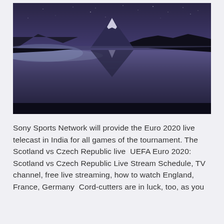[Figure (photo): Night or twilight photograph of Mount Fuji reflected in a calm lake. The sky is a deep blue-purple with faint stars. Dark mountain silhouettes frame the sides. The snow-capped peak of the mountain is mirrored perfectly in the still water below.]
Sony Sports Network will provide the Euro 2020 live telecast in India for all games of the tournament. The Scotland vs Czech Republic live  UEFA Euro 2020: Scotland vs Czech Republic Live Stream Schedule, TV channel, free live streaming, how to watch England, France, Germany  Cord-cutters are in luck, too, as you